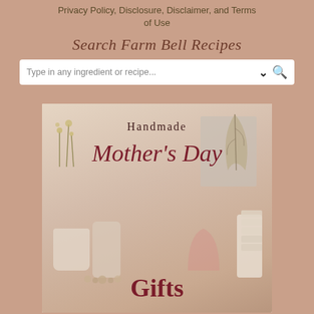Privacy Policy, Disclosure, Disclaimer, and Terms of Use
Search Farm Bell Recipes
Type in any ingredient or recipe...
[Figure (illustration): Handmade Mother's Day Gifts promotional image showing decorative items including pots with plants, candles, and a framed print on a warm beige/tan background with the text 'Handmade Mother's Day Gifts']